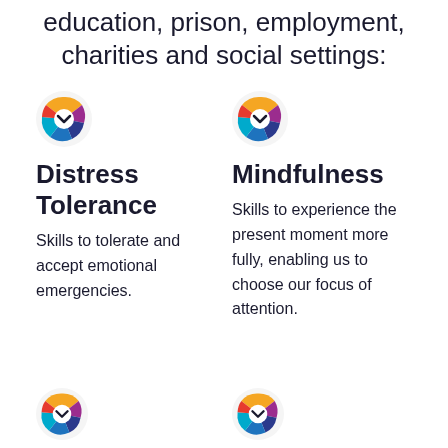education, prison, employment, charities and social settings:
[Figure (logo): Colorful circular logo with orange, purple, blue and teal segments]
Distress Tolerance
Skills to tolerate and accept emotional emergencies.
[Figure (logo): Colorful circular logo with orange, purple, blue and teal segments]
Mindfulness
Skills to experience the present moment more fully, enabling us to choose our focus of attention.
[Figure (logo): Colorful circular logo with orange, purple, blue and teal segments]
[Figure (logo): Colorful circular logo with orange, purple, blue and teal segments]